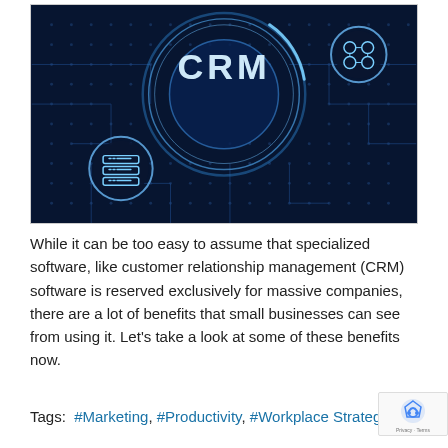[Figure (illustration): A dark blue circuit board background with glowing CRM text at the top center inside a circular holographic ring, and a server/database icon in a circle in the lower left, and a cluster icon in the upper right. Technology/digital theme.]
While it can be too easy to assume that specialized software, like customer relationship management (CRM) software is reserved exclusively for massive companies, there are a lot of benefits that small businesses can see from using it. Let's take a look at some of these benefits now.
Tags:  #Marketing, #Productivity, #Workplace Strategy